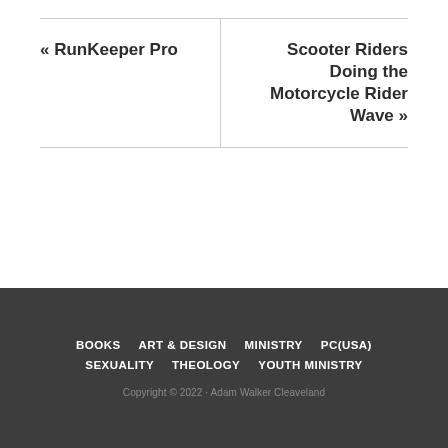« RunKeeper Pro
Scooter Riders Doing the Motorcycle Rider Wave »
BOOKS   ART & DESIGN   MINISTRY   PC(USA)   SEXUALITY   THEOLOGY   YOUTH MINISTRY   Copyright © 2022 · Adam Walker Cleaveland